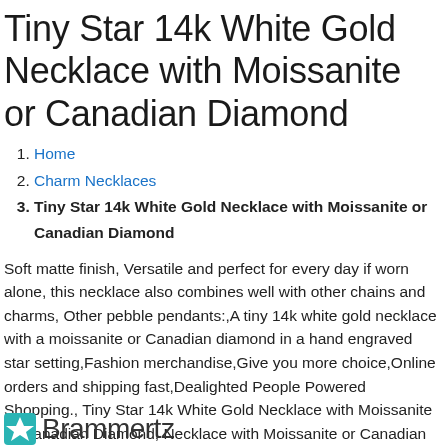Tiny Star 14k White Gold Necklace with Moissanite or Canadian Diamond
Home
Charm Necklaces
Tiny Star 14k White Gold Necklace with Moissanite or Canadian Diamond
Soft matte finish, Versatile and perfect for every day if worn alone, this necklace also combines well with other chains and charms, Other pebble pendants:,A tiny 14k white gold necklace with a moissanite or Canadian diamond in a hand engraved star setting,Fashion merchandise,Give you more choice,Online orders and shipping fast,Dealighted People Powered Shopping., Tiny Star 14k White Gold Necklace with Moissanite or Canadian Diamond, Necklace with Moissanite or Canadian Diamond Tiny Star 14k White Gold, or Canadian Diamond Tiny Star 14k White Gold Necklace with Moissanite.
[Figure (logo): Brammertz logo with teal icon on left and text on right]